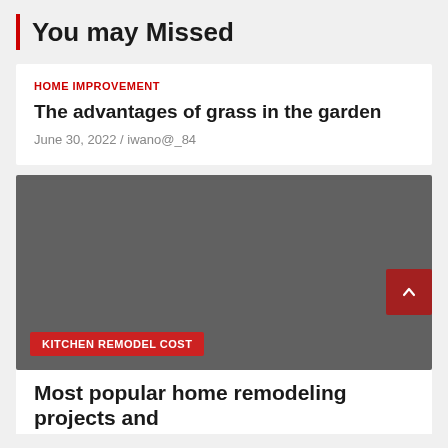You may Missed
HOME IMPROVEMENT
The advantages of grass in the garden
June 30, 2022 / iwano@_84
[Figure (photo): Dark grey placeholder image with KITCHEN REMODEL COST badge and scroll-to-top button]
KITCHEN REMODEL COST
Most popular home remodeling projects and